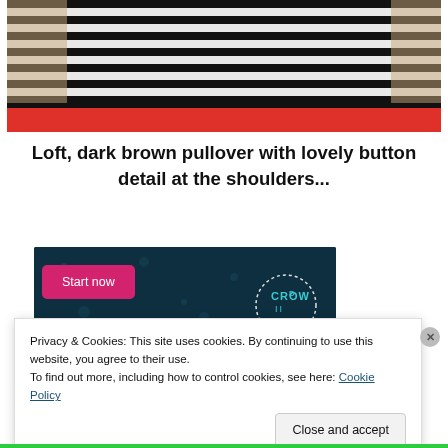[Figure (photo): A striped black and white pullover sweater with red/orange color block at bottom, photographed from front torso view hanging or worn]
Loft, dark brown pullover with lovely button detail at the shoulders...
[Figure (screenshot): Advertisement banner on dark teal background with pink 'Start now' button and Crowd logo on right]
Privacy & Cookies: This site uses cookies. By continuing to use this website, you agree to their use.
To find out more, including how to control cookies, see here: Cookie Policy
Close and accept